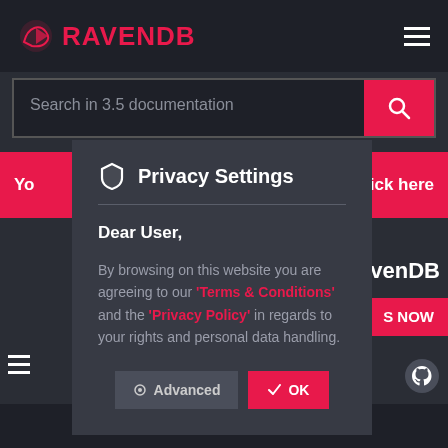[Figure (screenshot): RavenDB documentation website screenshot showing a Privacy Settings modal dialog overlay on a dark-themed page. The modal contains a shield icon, 'Privacy Settings' title, a message to the user about Terms & Conditions and Privacy Policy, and Advanced/OK buttons.]
Privacy Settings
Dear User,
By browsing on this website you are agreeing to our 'Terms & Conditions' and the 'Privacy Policy' in regards to your rights and personal data handling.